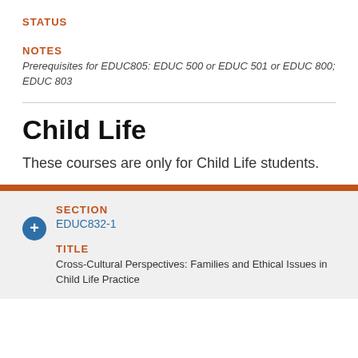STATUS
NOTES
Prerequisites for EDUC805: EDUC 500 or EDUC 501 or EDUC 800; EDUC 803
Child Life
These courses are only for Child Life students.
SECTION
EDUC832-1
TITLE
Cross-Cultural Perspectives: Families and Ethical Issues in Child Life Practice